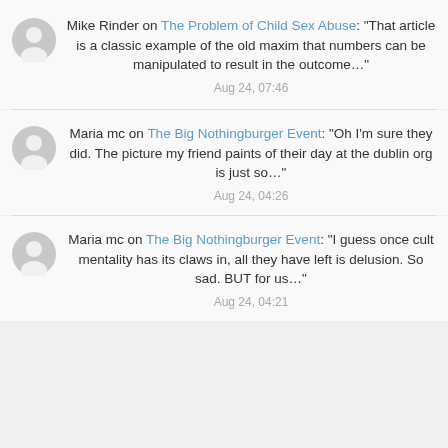Mike Rinder on The Problem of Child Sex Abuse: "That article is a classic example of the old maxim that numbers can be manipulated to result in the outcome…" Aug 24, 07:46
Maria mc on The Big Nothingburger Event: "Oh I'm sure they did. The picture my friend paints of their day at the dublin org is just so…" Aug 24, 04:26
Maria mc on The Big Nothingburger Event: "I guess once cult mentality has its claws in, all they have left is delusion. So sad. BUT for us…" Aug 24, 04:21